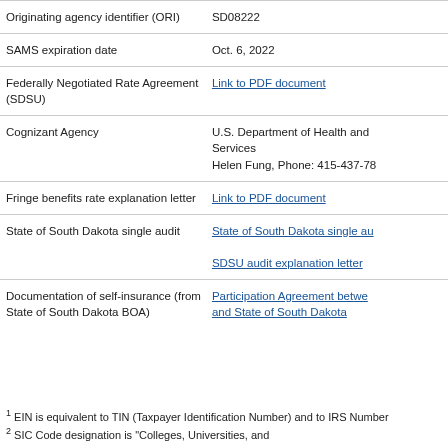| Field | Value |
| --- | --- |
| Originating agency identifier (ORI) | SD08222 |
| SAMS expiration date | Oct. 6, 2022 |
| Federally Negotiated Rate Agreement (SDSU) | Link to PDF document |
| Cognizant Agency | U.S. Department of Health and Services
Helen Fung, Phone: 415-437-78... |
| Fringe benefits rate explanation letter | Link to PDF document |
| State of South Dakota single audit | State of South Dakota single au...
SDSU audit explanation letter |
| Documentation of self-insurance (from State of South Dakota BOA) | Participation Agreement betwe... and State of South Dakota |
1 EIN is equivalent to TIN (Taxpayer Identification Number) and to IRS Number
2 SIC Code designation is "Colleges, Universities, and